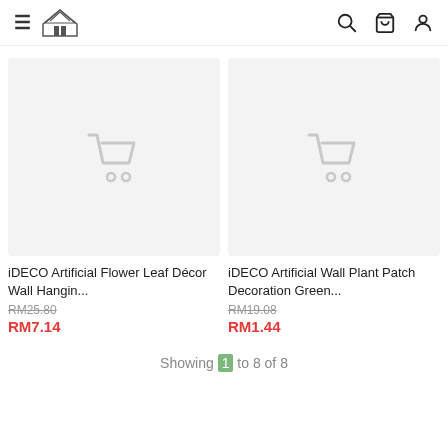iDECO store header with hamburger menu, logo, search, cart, and account icons
[Figure (screenshot): Product image placeholder with light grey background and faded shopping cart icon for iDECO Artificial Flower Leaf Décor Wall Hanging]
iDECO Artificial Flower Leaf Décor Wall Hangin...
RM25.80
RM7.14
[Figure (screenshot): Product image placeholder with light grey background and faded shopping cart icon for iDECO Artificial Wall Plant Patch Decoration Green]
iDECO Artificial Wall Plant Patch Decoration Green...
RM19.08
RM1.44
Showing 1 to 8 of 8